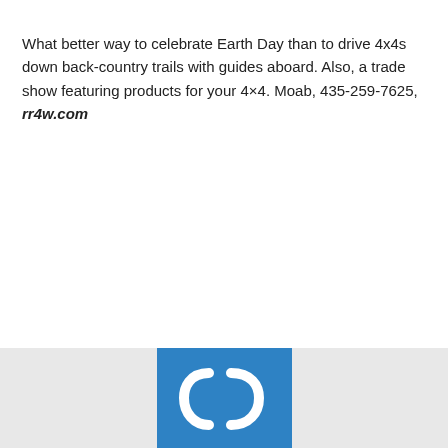What better way to celebrate Earth Day than to drive 4x4s down back-country trails with guides aboard. Also, a trade show featuring products for your 4×4. Moab, 435-259-7625, rr4w.com
[Figure (logo): Blue square logo with white stylized parentheses/bracket icon resembling the letter d or a sound/music symbol, on a light gray background]